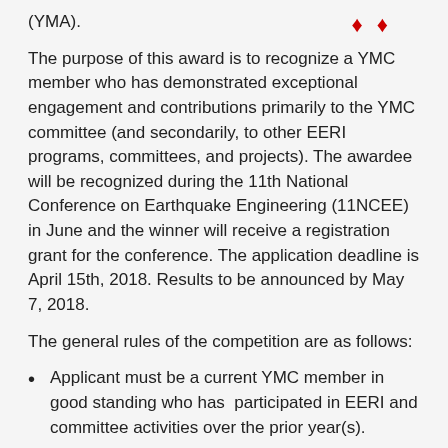(YMA).
The purpose of this award is to recognize a YMC member who has demonstrated exceptional engagement and contributions primarily to the YMC committee (and secondarily, to other EERI programs, committees, and projects). The awardee will be recognized during the 11th National Conference on Earthquake Engineering (11NCEE) in June and the winner will receive a registration grant for the conference. The application deadline is April 15th, 2018. Results to be announced by May 7, 2018.
The general rules of the competition are as follows:
Applicant must be a current YMC member in good standing who has  participated in EERI and committee activities over the prior year(s).
Applicant must not be a current and/or past YMC co-chair (in future YMA award years, applicant cannot be the YMA awardee from the prior year).